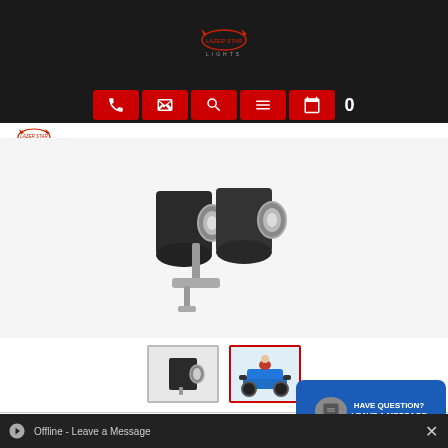[Figure (logo): Lazer Star Lights logo with cat silhouette on dark background]
[Figure (screenshot): Navigation bar with red icon buttons for phone, contact, search, menu, calendar, and cart count 0]
[Figure (photo): Product photo of 100 Watt Pivot Mount ATV dual black shorty halogen lights on metal bracket]
[Figure (photo): Thumbnail 1: small product image of single halogen light]
[Figure (photo): Thumbnail 2: ATV quad bike with lights installed]
100 WATT PIVOT MOUNT ATVK42100 BLACK SHORTY HALOGEN LIGHT
Lazer Star Lights, ATVK42100, Shorty, Halogen, Black, 818174018185
(0) Reviews: Write first review
[Figure (screenshot): Have Question? Leave a Message chat popup button in blue]
Offline - Leave a Message